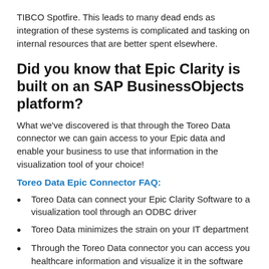TIBCO Spotfire. This leads to many dead ends as integration of these systems is complicated and tasking on internal resources that are better spent elsewhere.
Did you know that Epic Clarity is built on an SAP BusinessObjects platform?
What we've discovered is that through the Toreo Data connector we can gain access to your Epic data and enable your business to use that information in the visualization tool of your choice!
Toreo Data Epic Connector FAQ:
Toreo Data can connect your Epic Clarity Software to a visualization tool through an ODBC driver
Toreo Data minimizes the strain on your IT department
Through the Toreo Data connector you can access you healthcare information and visualize it in the software of your choice
Every software integration between Epic and a data visualization